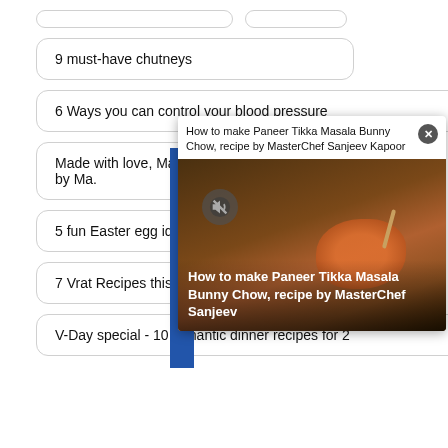9 must-have chutneys
6 Ways you can control your blood pressure
Made with love, Made by Ma.
A new year of feasting
5 fun Easter egg idea...
7 Vrat Recipes this S...
V-Day special - 10 romantic dinner recipes for 2
[Figure (screenshot): Popup overlay showing 'How to make Paneer Tikka Masala Bunny Chow, recipe by MasterChef Sanjeev Kapoor' with a food photo and blue 'FEATURED RECIPES' vertical sidebar label. A close (X) button appears in top right of popup.]